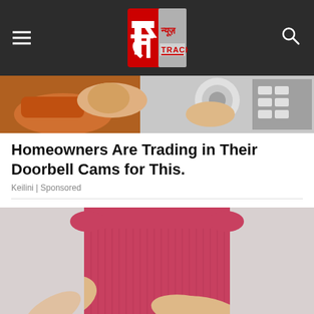न्यूज़ Track — News Track website header with logo, hamburger menu, and search icon
[Figure (photo): Partial image showing a hand holding a tape roll and some electrical components, cropped at top of article]
Homeowners Are Trading in Their Doorbell Cams for This.
Keilini | Sponsored
[Figure (photo): Woman in red sleeveless top holding her stomach/ribs area with both hands, light gray background]